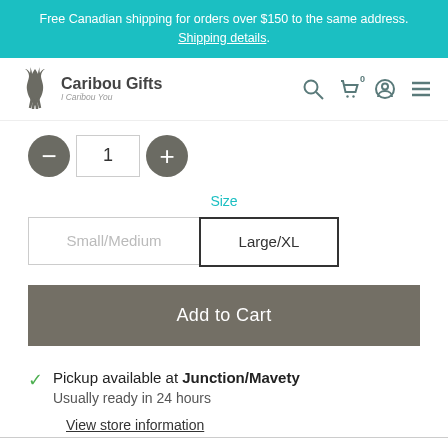Free Canadian shipping for orders over $150 to the same address. Shipping details.
Caribou Gifts | I Caribou You — navigation bar with search, cart (0), account, and menu icons
Quantity selector: minus button, 1, plus button
Size: Small/Medium | Large/XL (selected)
Add to Cart
✓ Pickup available at Junction/Mavety
Usually ready in 24 hours
View store information